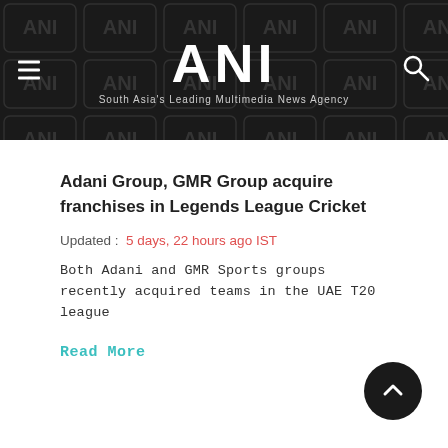ANI — South Asia's Leading Multimedia News Agency
Adani Group, GMR Group acquire franchises in Legends League Cricket
Updated : 5 days, 22 hours ago IST
Both Adani and GMR Sports groups recently acquired teams in the UAE T20 league
Read More